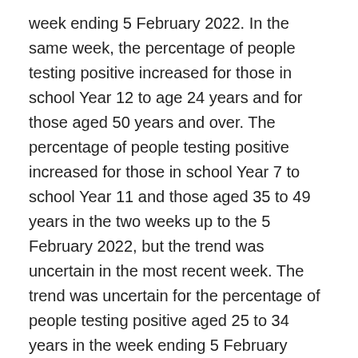week ending 5 February 2022. In the same week, the percentage of people testing positive increased for those in school Year 12 to age 24 years and for those aged 50 years and over. The percentage of people testing positive increased for those in school Year 7 to school Year 11 and those aged 35 to 49 years in the two weeks up to the 5 February 2022, but the trend was uncertain in the most recent week. The trend was uncertain for the percentage of people testing positive aged 25 to 34 years in the week ending 5 February 2022.
In the week ending 5 February 2022, the percentage of people testing positive for COVID-19 varied substantially across age groups, remaining the highest